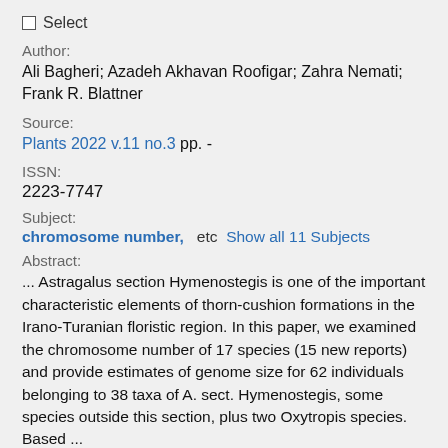Select
Author:
Ali Bagheri; Azadeh Akhavan Roofigar; Zahra Nemati; Frank R. Blattner
Source:
Plants 2022 v.11 no.3 pp. -
ISSN:
2223-7747
Subject:
chromosome number,  etc  Show all 11 Subjects
Abstract:
... Astragalus section Hymenostegis is one of the important characteristic elements of thorn-cushion formations in the Irano-Turanian floristic region. In this paper, we examined the chromosome number of 17 species (15 new reports) and provide estimates of genome size for 62 individuals belonging to 38 taxa of A. sect. Hymenostegis, some species outside this section, plus two Oxytropis species. Based ...